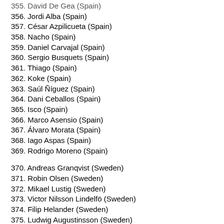355. David De Gea (Spain)
356. Jordi Alba (Spain)
357. César Azpilicueta (Spain)
358. Nacho (Spain)
359. Daniel Carvajal (Spain)
360. Sergio Busquets (Spain)
361. Thiago (Spain)
362. Koke (Spain)
363. Saúl Ñíguez (Spain)
364. Dani Ceballos (Spain)
365. Isco (Spain)
366. Marco Asensio (Spain)
367. Álvaro Morata (Spain)
368. Iago Aspas (Spain)
369. Rodrigo Moreno (Spain)
370. Andreas Granqvist (Sweden)
371. Robin Olsen (Sweden)
372. Mikael Lustig (Sweden)
373. Victor Nilsson Lindelfö (Sweden)
374. Filip Helander (Sweden)
375. Ludwig Augustinsson (Sweden)
376. Pontus Jansson (Sweden)
377. Amil Krafth (Sweden)
378. Sebastian Larsson (Sweden)
379. Gustav Svensson (Sweden)